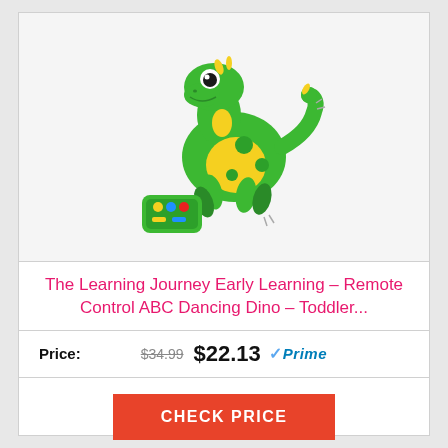[Figure (photo): Green cartoon dinosaur toy with yellow spots and a remote control, shown on white background]
The Learning Journey Early Learning - Remote Control ABC Dancing Dino - Toddler...
Price: $34.99 $22.13 Prime
CHECK PRICE